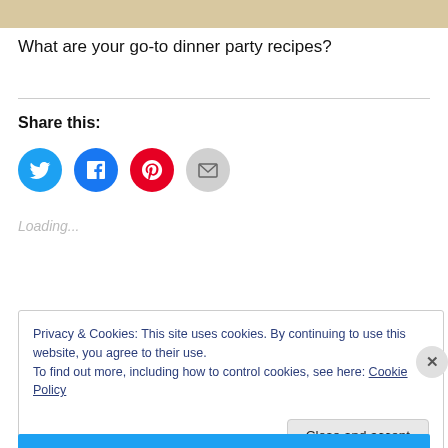[Figure (photo): Top strip showing partial photo of a dinner plate with food and utensils]
What are your go-to dinner party recipes?
Share this:
[Figure (infographic): Four social sharing buttons: Twitter (blue bird), Facebook (blue f), Pinterest (red P), Email (gray envelope)]
Loading...
Privacy & Cookies: This site uses cookies. By continuing to use this website, you agree to their use.
To find out more, including how to control cookies, see here: Cookie Policy
Close and accept